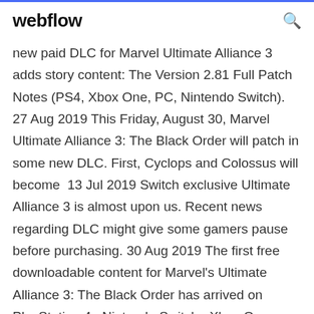webflow
new paid DLC for Marvel Ultimate Alliance 3 adds story content: The Version 2.81 Full Patch Notes (PS4, Xbox One, PC, Nintendo Switch). 27 Aug 2019 This Friday, August 30, Marvel Ultimate Alliance 3: The Black Order will patch in some new DLC. First, Cyclops and Colossus will become  13 Jul 2019 Switch exclusive Ultimate Alliance 3 is almost upon us. Recent news regarding DLC might give some gamers pause before purchasing. 30 Aug 2019 The first free downloadable content for Marvel's Ultimate Alliance 3: The Black Order has arrived on PlayStation 4 · Nintendo Switch · Xbox One · Mobile · PC · Nintendo 3DS It should then download. This is the first free DLC for